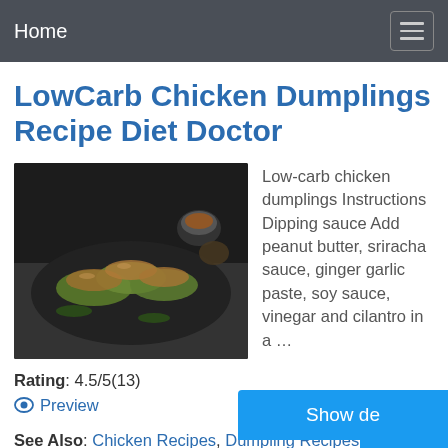Home
LowCarb Chicken Dumplings Recipe Diet Doctor
[Figure (photo): Dark food photography showing cabbage-wrapped chicken dumplings on a dark plate with a dipping sauce in a small cup, placed on a gray cloth napkin.]
Low-carb chicken dumplings Instructions Dipping sauce Add peanut butter, sriracha sauce, ginger garlic paste, soy sauce, vinegar and cilantro in a …
Rating: 4.5/5(13)
Preview
See Also: Chicken Recipes, Dumpling Recipes
Show de